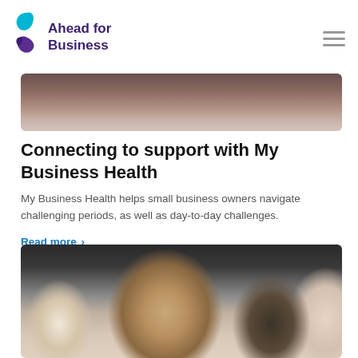Ahead for Business
[Figure (photo): Cropped top portion of a photo showing a blurred indoor scene with warm brown tones, partially visible workspace]
Connecting to support with My Business Health
My Business Health helps small business owners navigate challenging periods, as well as day-to-day challenges.
Read more ›
[Figure (photo): Three people in a meeting or conversation - a person with white/grey hair and glasses on the left, a man with red beard and light blue shirt in the center smiling, and a woman with curly hair on the right, with another person partially visible at far right. Bright office environment with large windows.]